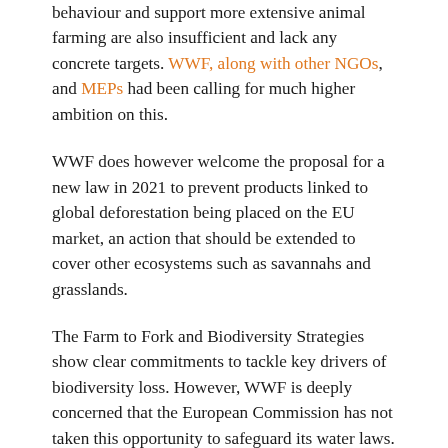behaviour and support more extensive animal farming are also insufficient and lack any concrete targets. WWF, along with other NGOs, and MEPs had been calling for much higher ambition on this.
WWF does however welcome the proposal for a new law in 2021 to prevent products linked to global deforestation being placed on the EU market, an action that should be extended to cover other ecosystems such as savannahs and grasslands.
The Farm to Fork and Biodiversity Strategies show clear commitments to tackle key drivers of biodiversity loss. However, WWF is deeply concerned that the European Commission has not taken this opportunity to safeguard its water laws. By failing to exclude a revision of the Water Framework Directive, despite its own evaluation saying it is fit for purpose, it has left Europe's water policy in limbo.
"The Commission has shown leadership today. The